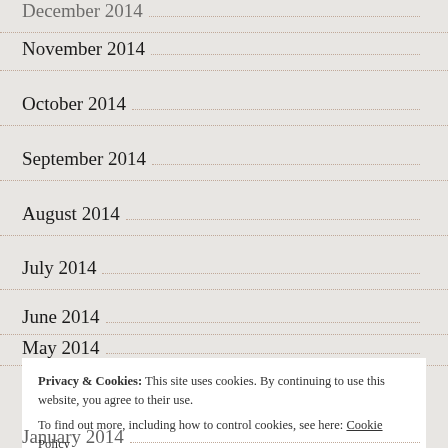November 2014
October 2014
September 2014
August 2014
July 2014
June 2014
May 2014
Privacy & Cookies: This site uses cookies. By continuing to use this website, you agree to their use.
To find out more, including how to control cookies, see here: Cookie Policy
Close and accept
January 2014